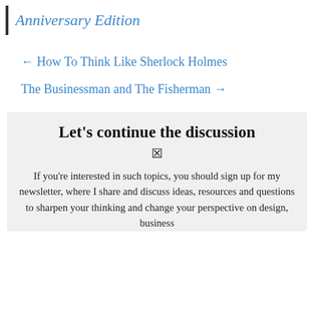Anniversary Edition
← How To Think Like Sherlock Holmes
The Businessman and The Fisherman →
Let's continue the discussion
If you're interested in such topics, you should sign up for my newsletter, where I share and discuss ideas, resources and questions to sharpen your thinking and change your perspective on design, business